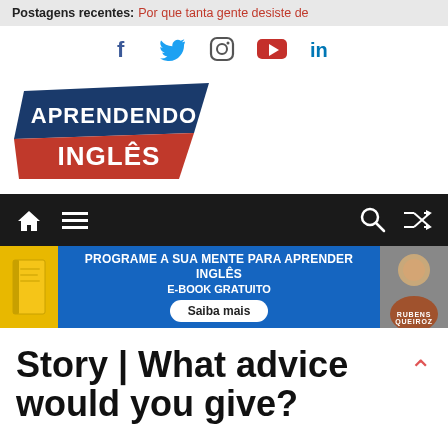Postagens recentes: Por que tanta gente desiste de
[Figure (illustration): Social media icons row: Facebook (f), Twitter bird, Instagram circle, YouTube red play button, LinkedIn (in)]
[Figure (logo): Aprendendo Inglês logo with blue and red angled banner design with white bold text]
[Figure (illustration): Dark navigation bar with home icon, hamburger menu icon on left, search icon and shuffle icon on right]
[Figure (infographic): Blue promotional banner: PROGRAME A SUA MENTE PARA APRENDER INGLÊS - E-BOOK GRATUITO with Saiba mais button and Rubens Queiroz photo]
Story | What advice would you give?